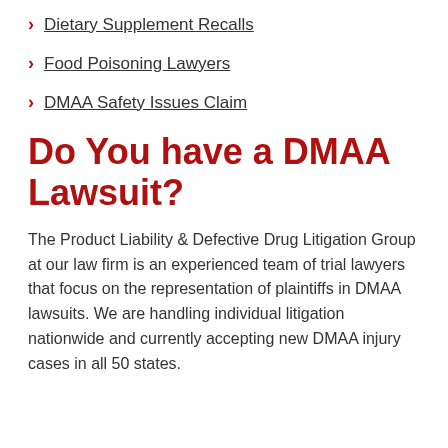Dietary Supplement Recalls
Food Poisoning Lawyers
DMAA Safety Issues Claim
Do You have a DMAA Lawsuit?
The Product Liability & Defective Drug Litigation Group at our law firm is an experienced team of trial lawyers that focus on the representation of plaintiffs in DMAA lawsuits. We are handling individual litigation nationwide and currently accepting new DMAA injury cases in all 50 states.